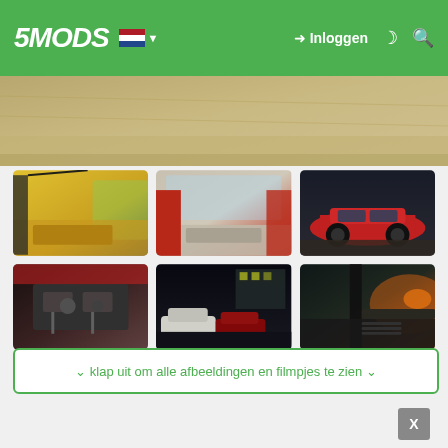5MODS — Inloggen
[Figure (screenshot): Top banner image showing sandy/gravelly terrain from GTA V mod]
[Figure (screenshot): Grid of 6 GTA V car mod screenshots: yellow car interior, red car interior, red supercar exterior, engine bay, night garage scene, car window interior]
∨ klap uit om alle afbeeldingen en filmpjes te zien ∨